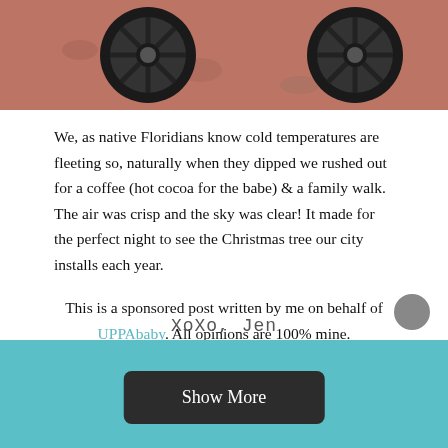[Figure (photo): Top portion of a photo showing stroller wheels on a gravel/pavement surface with reddish background]
We, as native Floridians know cold temperatures are fleeting so, naturally when they dipped we rushed out for a coffee (hot cocoa for the babe) & a family walk. The air was crisp and the sky was clear! It made for the perfect night to see the Christmas tree our city installs each year.
This is a sponsored post written by me on behalf of UPPAbaby. All opinions are 100% mine.
[Figure (illustration): Handwritten signature reading XoXo, Jen with a circular avatar]
Show More